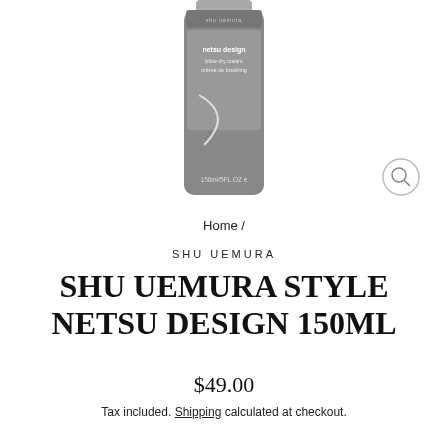[Figure (photo): Product photo of Shu Uemura Netsu Design blow dry cream bottle, 150ml/5FL.OZ, dark gray cylindrical bottle with white text labeling, partial top crop]
Home /
SHU UEMURA
SHU UEMURA STYLE NETSU DESIGN 150ML
$49.00
Tax included. Shipping calculated at checkout.